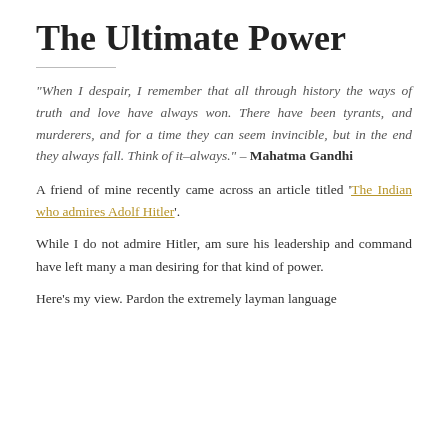The Ultimate Power
"When I despair, I remember that all through history the ways of truth and love have always won. There have been tyrants, and murderers, and for a time they can seem invincible, but in the end they always fall. Think of it–always." – Mahatma Gandhi
A friend of mine recently came across an article titled 'The Indian who admires Adolf Hitler'.
While I do not admire Hitler, am sure his leadership and command have left many a man desiring for that kind of power.
Here's my view. Pardon the extremely layman language